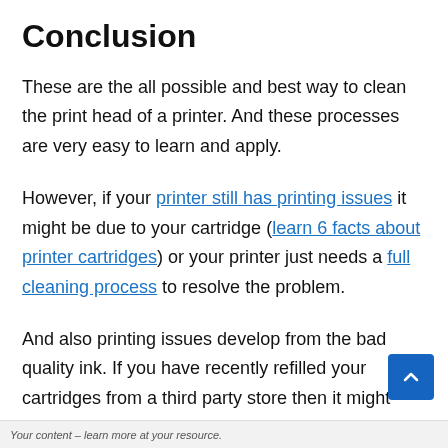Conclusion
These are the all possible and best way to clean the print head of a printer. And these processes are very easy to learn and apply.
However, if your printer still has printing issues it might be due to your cartridge (learn 6 facts about printer cartridges) or your printer just needs a full cleaning process to resolve the problem.
And also printing issues develop from the bad quality ink. If you have recently refilled your cartridges from a third party store then it might